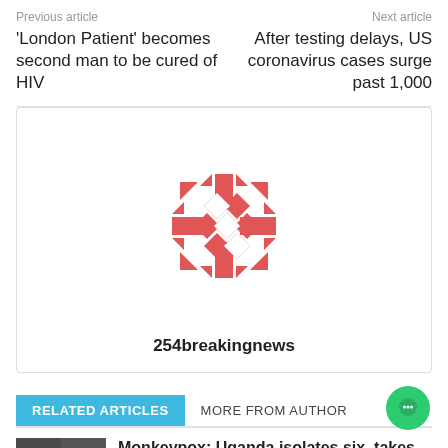Previous article | Next article
'London Patient' becomes second man to be cured of HIV
After testing delays, US coronavirus cases surge past 1,000
[Figure (logo): 254breakingnews logo — geometric red/coral diamond pattern with arrows on a white background, with bold text '254breakingnews' below]
RELATED ARTICLES
MORE FROM AUTHOR
Monkeypox: Uganda isolates six, takes